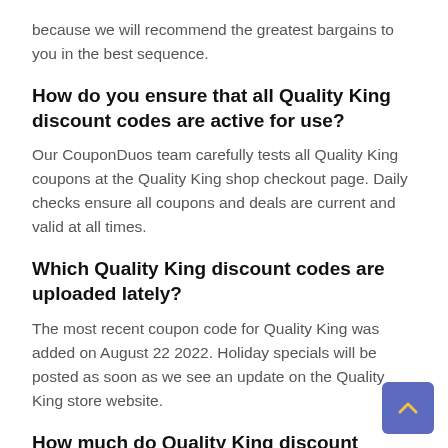because we will recommend the greatest bargains to you in the best sequence.
How do you ensure that all Quality King discount codes are active for use?
Our CouponDuos team carefully tests all Quality King coupons at the Quality King shop checkout page. Daily checks ensure all coupons and deals are current and valid at all times.
Which Quality King discount codes are uploaded lately?
The most recent coupon code for Quality King was added on August 22 2022. Holiday specials will be posted as soon as we see an update on the Quality King store website.
How much do Quality King discount codes save me?